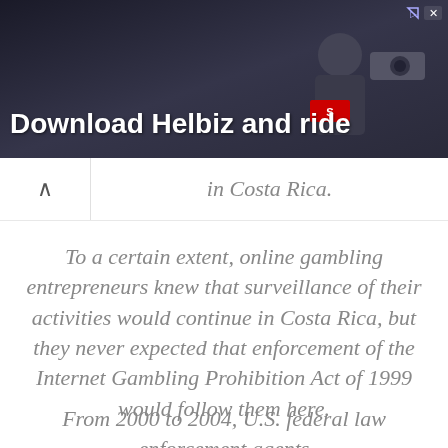[Figure (photo): Advertisement banner for Helbiz app showing a dark background with a person holding a camera/device. Text reads 'Download Helbiz and ride' in white bold letters. Has close button in top right corner.]
in Costa Rica.
To a certain extent, online gambling entrepreneurs knew that surveillance of their activities would continue in Costa Rica, but they never expected that enforcement of the Internet Gambling Prohibition Act of 1999 would follow them here.
From 2000 to 2004, U.S. federal law enforcement agents